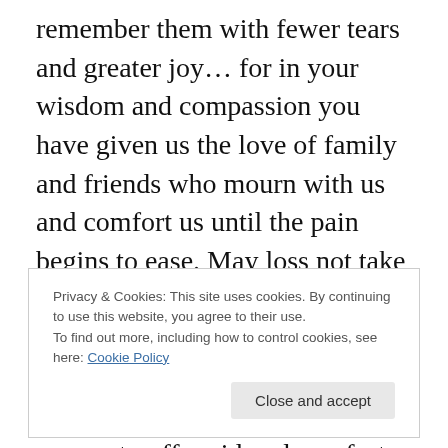remember them with fewer tears and greater joy… for in your wisdom and compassion you have given us the love of family and friends who mourn with us and comfort us until the pain begins to ease. May loss not take our innocence and trust but leave us with a reverence for life, compassion quickly stirred by others' suffering, wisdom and energy to offer aid and comfort. May we know you by those mercies, sense your presence, hear your voice, and glimpse your glory. Help us realize that we are needed by the living, who require our love and cherishing. In thankfulness and praise we offer this our prayer. Amen.
Privacy & Cookies: This site uses cookies. By continuing to use this website, you agree to their use.
To find out more, including how to control cookies, see here: Cookie Policy